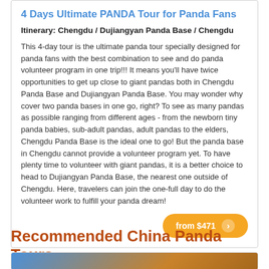4 Days Ultimate PANDA Tour for Panda Fans
Itinerary: Chengdu / Dujiangyan Panda Base / Chengdu
This 4-day tour is the ultimate panda tour specially designed for panda fans with the best combination to see and do panda volunteer program in one trip!!! It means you'll have twice opportunities to get up close to giant pandas both in Chengdu Panda Base and Dujiangyan Panda Base. You may wonder why cover two panda bases in one go, right? To see as many pandas as possible ranging from different ages - from the newborn tiny panda babies, sub-adult pandas, adult pandas to the elders, Chengdu Panda Base is the ideal one to go! But the panda base in Chengdu cannot provide a volunteer program yet. To have plenty time to volunteer with giant pandas, it is a better choice to head to Dujiangyan Panda Base, the nearest one outside of Chengdu. Here, travelers can join the one-full day to do the volunteer work to fulfill your panda dream!
from $471
Recommended China Panda Tours
[Figure (photo): Bottom of page showing the start of a recommended China Panda Tours card with a photo of a panda/landscape]